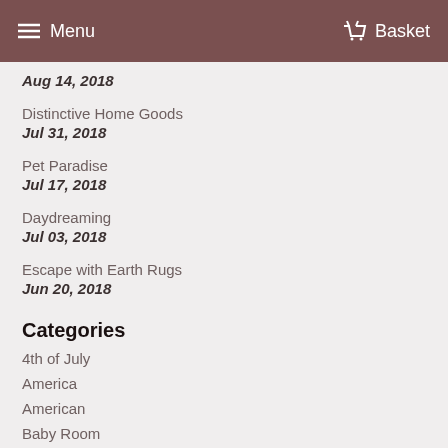Menu  Basket
Aug 14, 2018
Distinctive Home Goods
Jul 31, 2018
Pet Paradise
Jul 17, 2018
Daydreaming
Jul 03, 2018
Escape with Earth Rugs
Jun 20, 2018
Categories
4th of July
America
American
Baby Room